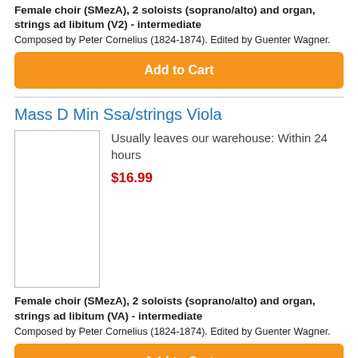Female choir (SMezA), 2 soloists (soprano/alto) and organ, strings ad libitum (V2) - intermediate
Composed by Peter Cornelius (1824-1874). Edited by Guenter Wagner.
Add to Cart
Mass D Min Ssa/strings Viola
[Figure (other): Product image placeholder - blank white box with border]
Usually leaves our warehouse: Within 24 hours
$16.99
Female choir (SMezA), 2 soloists (soprano/alto) and organ, strings ad libitum (VA) - intermediate
Composed by Peter Cornelius (1824-1874). Edited by Guenter Wagner.
Add to Cart
Mass D Min Ssa/strings Violin 1